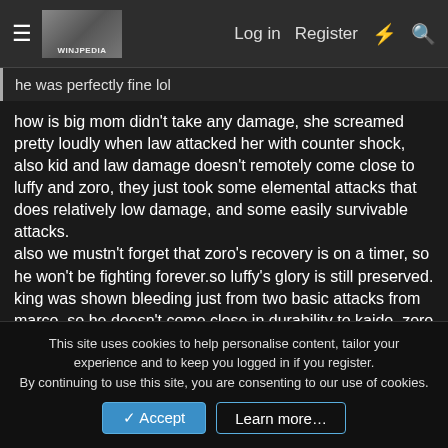Log in  Register  ⚡  🔍
he was perfectly fine lol
how is big mom didn't take any damage, she screamed pretty loudly when law attacked her with counter shock, also kid and law damage doesn't remotely come close to luffy and zoro, they just took some elemental attacks that does relatively low damage, and some easily survivable attacks.
also we mustn't forget that zoro's recovery is on a timer, so he won't be fighting forever.so luffy's glory is still preserved.
king was shown bleeding just from two basic attacks from marco, so he doesn't come close in durability to kaido, zoro has proven to do serious damage even overpowering kaido with some attacks, it'll be very underwhelming if he struggled against an king that wasn't even able to defeat marco.
This site uses cookies to help personalise content, tailor your experience and to keep you logged in if you register.
By continuing to use this site, you are consenting to our use of cookies.